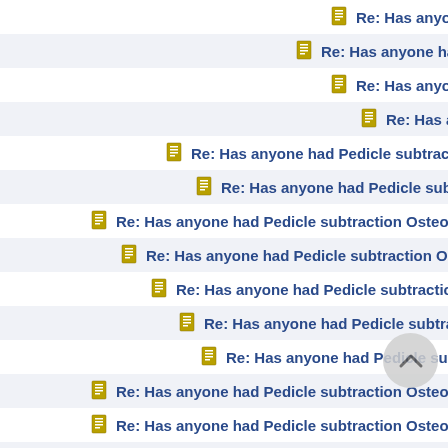Re: Has anyone had Pedicle subtraction Os...
Re: Has anyone had Pedicle subtraction O...
Re: Has anyone had Pedicle subtractio...
Re: Has anyone had Pedicle subtrac...
Re: Has anyone had Pedicle subtraction Osteotomy ?
Re: Has anyone had Pedicle subtraction Osteotomy...
Re: Has anyone had Pedicle subtraction Osteotomy ?
Re: Has anyone had Pedicle subtraction Osteotomy ?
Re: Has anyone had Pedicle subtraction Osteotomy ?
Re: Has anyone had Pedicle subtraction Osteotomy ?
Re: Has anyone had Pedicle subtraction Osteotomy...
Re: Has anyone had Pedicle subtraction Osteotomy ?
Re: Has anyone had Pedicle subtraction Osteotom...
Re: Has anyone had Pedicle subtraction Osteotomy ?